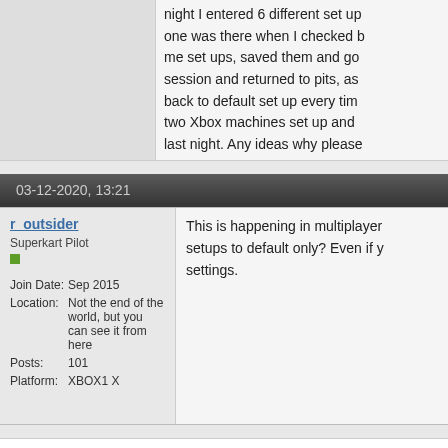night I entered 6 different set ups, one was there when I checked me set ups, saved them and go session and returned to pits, as back to default set up every ti two Xbox machines set up and last night. Any ideas why pleas
03-12-2020, 13:21
r_outsider
Superkart Pilot
| Join Date: | Sep 2015 |
| Location: | Not the end of the world, but you can see it from here |
| Posts: | 101 |
| Platform: | XBOX1 X |
This is happening in multiplayer setups to default only? Even if y settings.
Quick Navigation
« Previous Thread | Next Thread